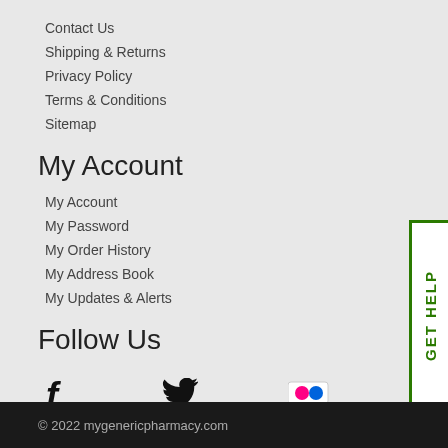Contact Us
Shipping & Returns
Privacy Policy
Terms & Conditions
Sitemap
My Account
My Account
My Password
My Order History
My Address Book
My Updates & Alerts
Follow Us
[Figure (infographic): Social media icons: Facebook, Twitter, Flickr, Pinterest, StumbleUpon, QR code with Click and Scan text]
[Figure (other): GET HELP vertical button on right edge, green border]
© 2022 mygenericpharmacy.com